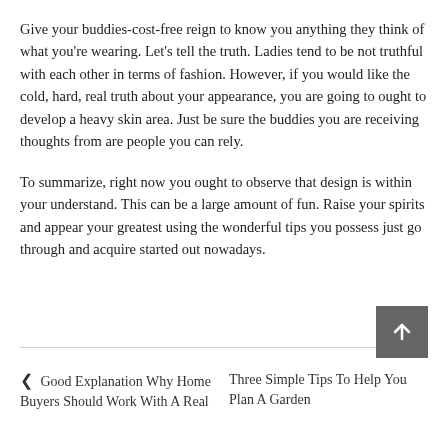Give your buddies-cost-free reign to know you anything they think of what you're wearing. Let's tell the truth. Ladies tend to be not truthful with each other in terms of fashion. However, if you would like the cold, hard, real truth about your appearance, you are going to ought to develop a heavy skin area. Just be sure the buddies you are receiving thoughts from are people you can rely.
To summarize, right now you ought to observe that design is within your understand. This can be a large amount of fun. Raise your spirits and appear your greatest using the wonderful tips you possess just go through and acquire started out nowadays.
❮  Good Explanation Why Home Buyers Should Work With A Real
Three Simple Tips To Help You Plan A Garden